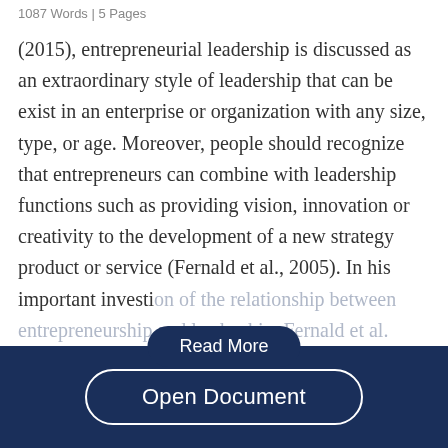1087 Words | 5 Pages
(2015), entrepreneurial leadership is discussed as an extraordinary style of leadership that can be exist in an enterprise or organization with any size, type, or age. Moreover, people should recognize that entrepreneurs can combine with leadership functions such as providing vision, innovation or creativity to the development of a new strategy product or service (Fernald et al., 2005). In his important investigation of the relationship between entrepreneurship and leadership, Fernald et al.
[Figure (other): Read More button overlay on faded text]
[Figure (other): Open Document button in dark navy footer bar]